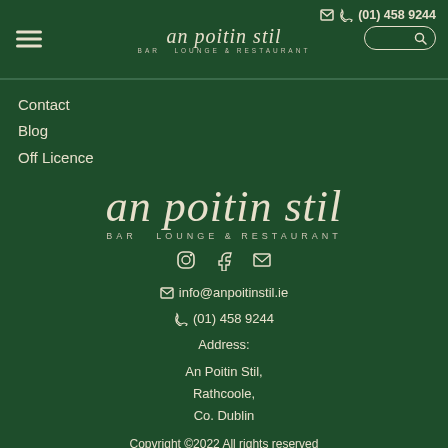an poitin stil BAR LOUNGE & RESTAURANT | (01) 458 9244
Contact
Blog
Off Licence
[Figure (logo): An Poitin Stil bar lounge and restaurant logo in large decorative text on dark green background]
✉ info@anpoitinstil.ie
(01) 458 9244
Address:
An Poitin Stil,
Rathcoole,
Co. Dublin
Copyright ©2022 All rights reserved